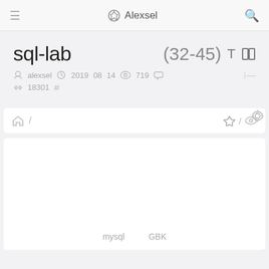≡  ⊙ Alexsel  🔍
sql-lab
(32-45)  T  ⊞
alexsel  2019  08  14  ◎ 719  ○
18301  #
[Figure (screenshot): Web application interface showing a navigation bar with home icon and breadcrumb slash, star/eye icons on right, gear icon, and a white content panel below showing 'mysql' and 'GBK' labels at the bottom.]